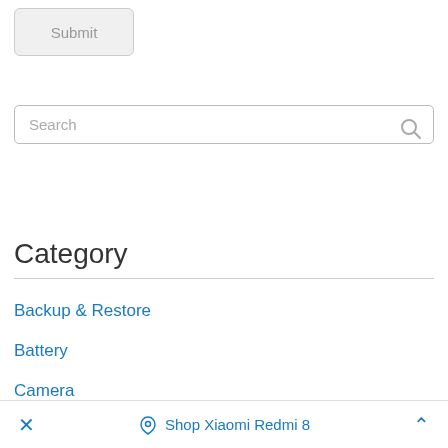Submit
Search
Category
Backup & Restore
Battery
Camera
Computer
Factory Default
× Shop Xiaomi Redmi 8 ^